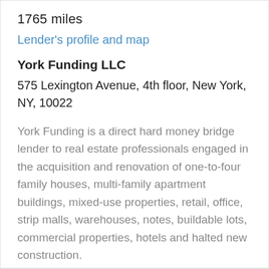1765 miles
Lender's profile and map
York Funding LLC
575 Lexington Avenue, 4th floor, New York, NY, 10022
York Funding is a direct hard money bridge lender to real estate professionals engaged in the acquisition and renovation of one-to-four family houses, multi-family apartment buildings, mixed-use properties, retail, office, strip malls, warehouses, notes, buildable lots, commercial properties, hotels and halted new construction.